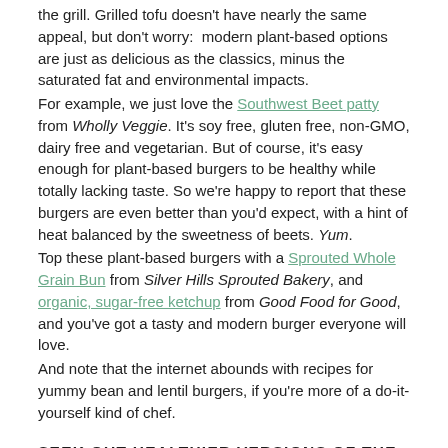the grill. Grilled tofu doesn't have nearly the same appeal, but don't worry: modern plant-based options are just as delicious as the classics, minus the saturated fat and environmental impacts.
For example, we just love the Southwest Beet patty from Wholly Veggie. It's soy free, gluten free, non-GMO, dairy free and vegetarian. But of course, it's easy enough for plant-based burgers to be healthy while totally lacking taste. So we're happy to report that these burgers are even better than you'd expect, with a hint of heat balanced by the sweetness of beets. Yum.
Top these plant-based burgers with a Sprouted Whole Grain Bun from Silver Hills Sprouted Bakery, and organic, sugar-free ketchup from Good Food for Good, and you've got a tasty and modern burger everyone will love.
And note that the internet abounds with recipes for yummy bean and lentil burgers, if you're more of a do-it-yourself kind of chef.
SEEK OUT HEALTHIER VERSIONS OF THE CLASSICS
Your healthy swaps don't have to stop at the grill. Today's parents have so many wonderful options that simply weren't available when we were children.
So you never would have had an old-fashioned BBQ without a